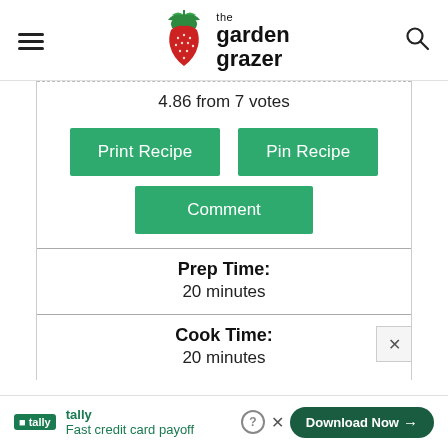[Figure (logo): The Garden Grazer logo with strawberry image and site name text]
4.86 from 7 votes
Print Recipe
Pin Recipe
Comment
Prep Time:
20 minutes
Cook Time:
20 minutes
tally Fast credit card payoff Download Now →